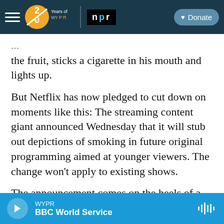WYPR | 20 Years of WYPR | NPR | Donate
...the fruit, sticks a cigarette in his mouth and lights up.
But Netflix has now pledged to cut down on moments like this: The streaming content giant announced Wednesday that it will stub out depictions of smoking in future original programming aimed at younger viewers. The change won't apply to existing shows.
The announcement comes on the heels of a new report by the anti-smoking group Truth Initiative released earlier this week. The study looked at
WYPR | BBC World Service